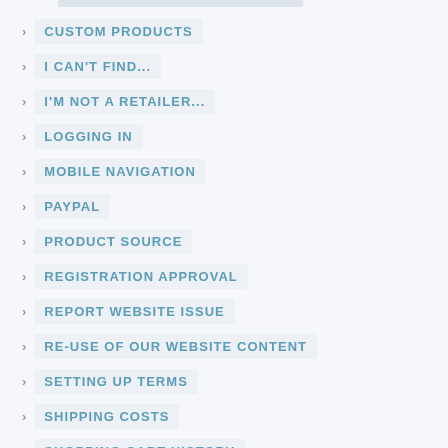CUSTOM PRODUCTS
I CAN'T FIND...
I'M NOT A RETAILER...
LOGGING IN
MOBILE NAVIGATION
PAYPAL
PRODUCT SOURCE
REGISTRATION APPROVAL
REPORT WEBSITE ISSUE
RE-USE OF OUR WEBSITE CONTENT
SETTING UP TERMS
SHIPPING COSTS
SHOPPING CART HISTORY